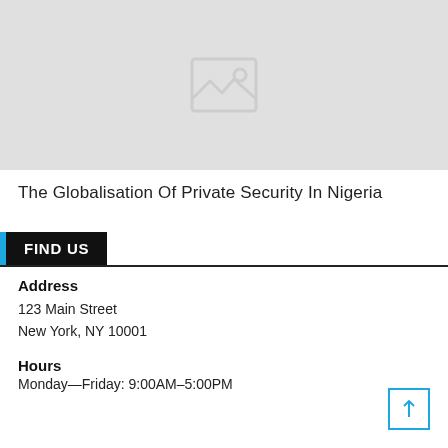[Figure (photo): Placeholder image with grey background and image icon]
The Globalisation Of Private Security In Nigeria
FIND US
Address
123 Main Street
New York, NY 10001
Hours
Monday—Friday: 9:00AM–5:00PM